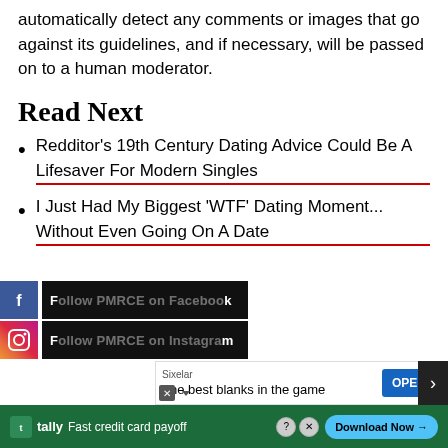Bumble has implemented technology that will automatically detect any comments or images that go against its guidelines, and if necessary, will be passed on to a human moderator.
Read Next
Redditor's 19th Century Dating Advice Could Be A Lifesaver For Modern Singles
I Just Had My Biggest 'WTF' Dating Moment... Without Even Going On A Date